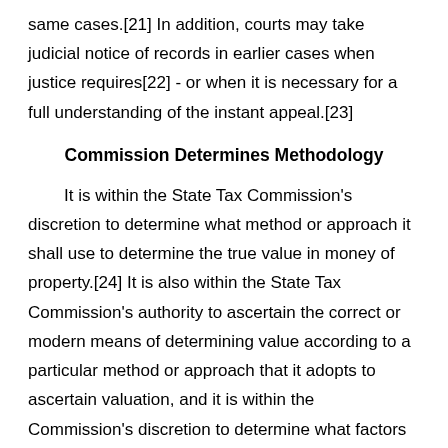same cases.[21] In addition, courts may take judicial notice of records in earlier cases when justice requires[22] - or when it is necessary for a full understanding of the instant appeal.[23]
Commission Determines Methodology
It is within the State Tax Commission's discretion to determine what method or approach it shall use to determine the true value in money of property.[24] It is also within the State Tax Commission's authority to ascertain the correct or modern means of determining value according to a particular method or approach that it adopts to ascertain valuation, and it is within the Commission's discretion to determine what factors should be considered in fixing the “true value in money” for property under a valuation method or approach adopted for use in a particular case.[25] The relative weight to be accorded any relevant factor in a particular tax assessment case is for the State Tax Commiss-